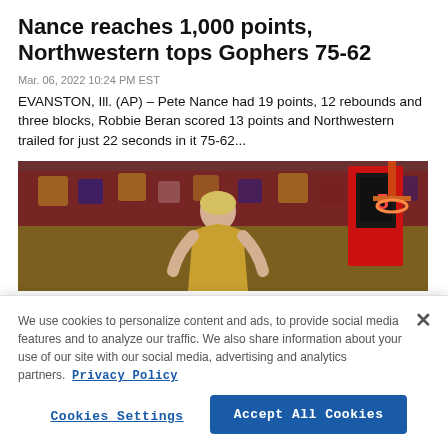Nance reaches 1,000 points, Northwestern tops Gophers 75-62
Mar. 06, 2022 10:24 PM EST
EVANSTON, Ill. (AP) – Pete Nance had 19 points, 12 rebounds and three blocks, Robbie Beran scored 13 points and Northwestern trailed for just 22 seconds in it 75-62...
[Figure (photo): Basketball player in gold jersey photographed from behind in a gymnasium with crowd in background and red shot clock visible]
We use cookies to personalize content and ads, to provide social media features and to analyze our traffic. We also share information about your use of our site with our social media, advertising and analytics partners. Privacy Policy
Cookies Settings | Accept All Cookies